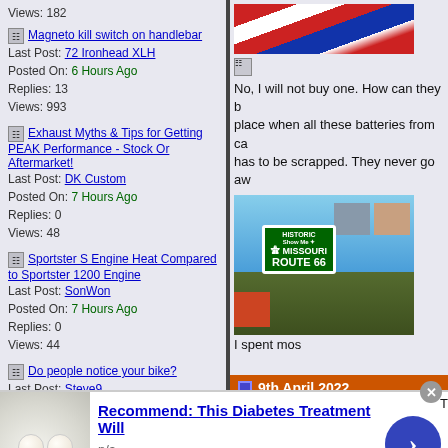Views: 182
Magneto kill switch on handlebar
Last Post: 72 Ironhead XLH
Posted On: 6 Hours Ago
Replies: 13
Views: 993
Exhaust Myths & Tips for Getting PEAK Performance - Stock Or Aftermarket!
Last Post: DK Custom
Posted On: 7 Hours Ago
Replies: 0
Views: 48
Sportster S Engine Heat Compared to Sportster 1200 Engine
Last Post: SonWon
Posted On: 7 Hours Ago
Replies: 0
Views: 44
Do people notice your bike?
Last Post: Steve9
Posted On: 9 Hours Ago
[Figure (photo): American flag photo (partial, top of right column)]
No, I will not buy one. How can they b... place when all these batteries from ca... has to be scrapped. They never go aw...
[Figure (photo): Missouri Route 66 road sign collage photo]
I spent mos...
9th April 2022
[Figure (photo): Chrome motorcycle detail photo (bottom right, partially visible)]
infolinks
Recommend: This Diabetes Treatment Will
n/a